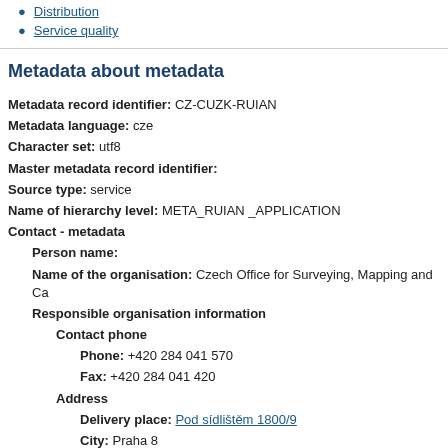Distribution
Service quality
Metadata about metadata
Metadata record identifier: CZ-CUZK-RUIAN
Metadata language: cze
Character set: utf8
Master metadata record identifier:
Source type: service
Name of hierarchy level: META_RUIAN _APPLICATION
Contact - metadata
Person name:
Name of the organisation: Czech Office for Surveying, Mapping and Ca
Responsible organisation information
Contact phone
Phone: +420 284 041 570
Fax: +420 284 041 420
Address
Delivery place: Pod sídlištěm 1800/9
City: Praha 8
ZIP code: 182 11
Country: Czech Republic
E-mail: podpora@cuzk.cz